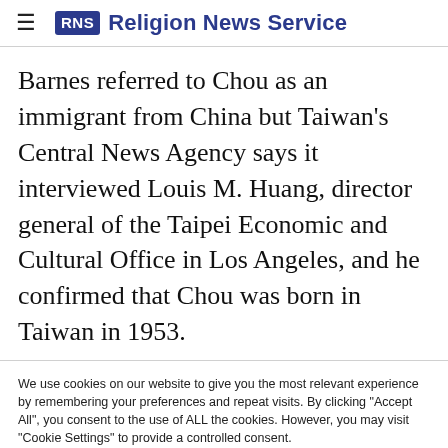RNS Religion News Service
Barnes referred to Chou as an immigrant from China but Taiwan's Central News Agency says it interviewed Louis M. Huang, director general of the Taipei Economic and Cultural Office in Los Angeles, and he confirmed that Chou was born in Taiwan in 1953.
We use cookies on our website to give you the most relevant experience by remembering your preferences and repeat visits. By clicking "Accept All", you consent to the use of ALL the cookies. However, you may visit "Cookie Settings" to provide a controlled consent.